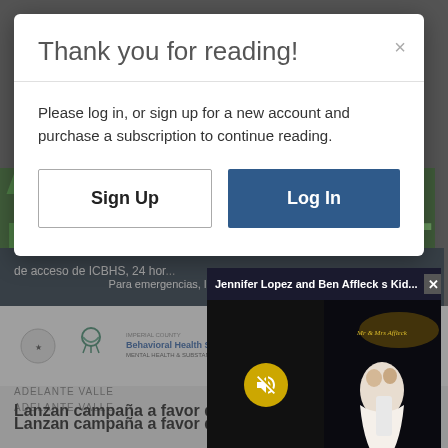[Figure (screenshot): Background newspaper website page showing a health campaign article in Spanish, with partial green text reading 'SALUD MENTAL', a dark band with ICBHS contact info, organizational logos, and a headline 'Lanzan campaña a favor de la salud mental' under section label 'ADELANTE VALLE']
Thank you for reading!
Please log in, or sign up for a new account and purchase a subscription to continue reading.
Sign Up
Log In
[Figure (screenshot): Video popup overlay showing Jennifer Lopez and Ben Affleck's Kid headline, with a muted video on the left (yellow mute button) and a wedding dance scene on the right with 'Mr & Mrs Affleck' lighting in background]
Jennifer Lopez and Ben Affleck s Kid...
ADELANTE VALLE
Lanzan campaña a favor de la salud mental